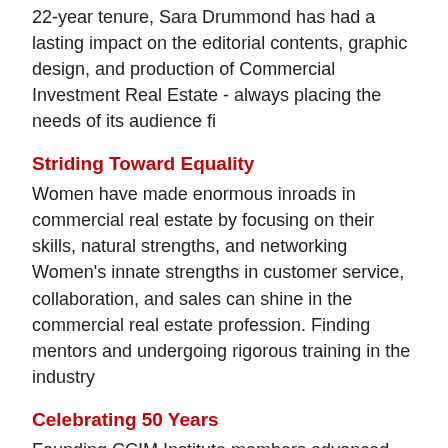22-year tenure, Sara Drummond has had a lasting impact on the editorial contents, graphic design, and production of Commercial Investment Real Estate - always placing the needs of its audience fi
Striding Toward Equality
Women have made enormous inroads in commercial real estate by focusing on their skills, natural strengths, and networking Women's innate strengths in customer service, collaboration, and sales can shine in the commercial real estate profession. Finding mentors and undergoing rigorous training in the industry
Celebrating 50 Years
Founding CCIM Institute members advanced the commercial real estate industry. To celebrate the 50 years of CCIM Institute, Commercial Investment Real Estate will showcase prominent CCIMs who moved the entire commercial real estate profession forward. All six issues of CIRE published in 2017 will share storie